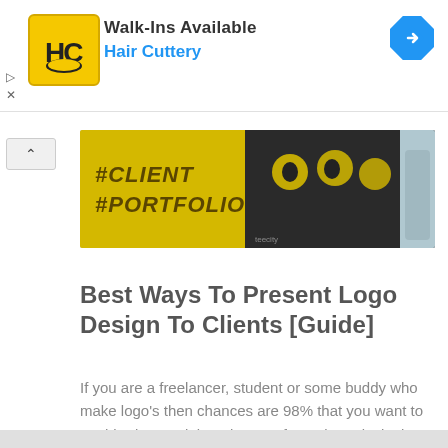[Figure (screenshot): Hair Cuttery advertisement banner with yellow logo showing HC letters, text 'Walk-Ins Available' and 'Hair Cuttery' in blue, and a blue diamond directions icon on the right]
[Figure (photo): Blog post thumbnail showing yellow background with text #CLIENT #PORTFOLIO on left side and a black cat illustration with decorative elements on right side, person visible on far right]
Best Ways To Present Logo Design To Clients [Guide]
If you are a freelancer, student or some buddy who make logo's then chances are 98% that you want to get hired or get job on bases of your logo designing skills or work. Getting jobs or clients as a
READ MORE »